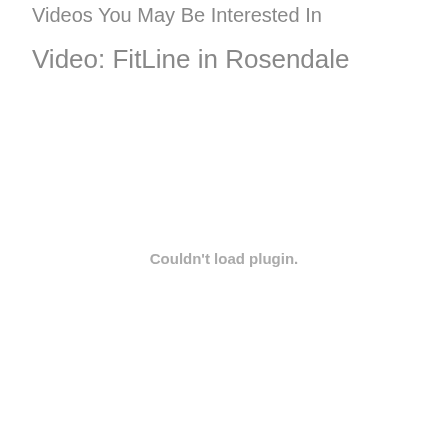Videos You May Be Interested In
Video: FitLine in Rosendale
Couldn't load plugin.